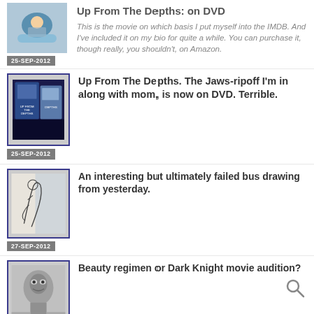[Figure (photo): Baby in blue inflatable pool, thumbnail]
25-SEP-2012
Up From The Depths: on DVD
This is the movie on which basis I put myself into the IMDB. And I've included it on my bio for quite a while. You can purchase it, though really, you shouldn't, on Amazon.
[Figure (photo): DVD cover of Up From The Depths movie]
25-SEP-2012
Up From The Depths. The Jaws-ripoff I'm in along with mom, is now on DVD. Terrible.
[Figure (illustration): Pencil sketch drawing of a person, bus drawing]
27-SEP-2012
An interesting but ultimately failed bus drawing from yesterday.
[Figure (photo): Black and white photo of a man's face]
28-SEP-2012
Beauty regimen or Dark Knight movie audition?
[Figure (illustration): Sketch/doodle thumbnail]
Internal servers down? Time to doodle.